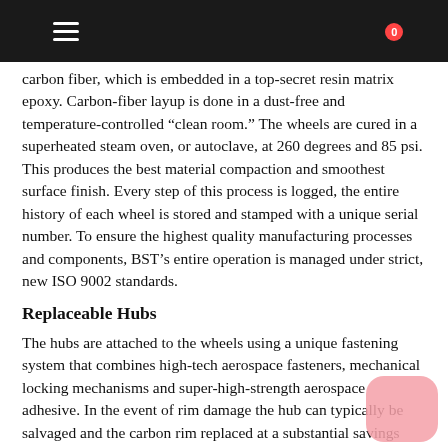Navigation bar with menu, search, user, and cart (0) icons
carbon fiber, which is embedded in a top-secret resin matrix epoxy. Carbon-fiber layup is done in a dust-free and temperature-controlled “clean room.” The wheels are cured in a superheated steam oven, or autoclave, at 260 degrees and 85 psi. This produces the best material compaction and smoothest surface finish. Every step of this process is logged, the entire history of each wheel is stored and stamped with a unique serial number. To ensure the highest quality manufacturing processes and components, BST’s entire operation is managed under strict, new ISO 9002 standards.
Replaceable Hubs
The hubs are attached to the wheels using a unique fastening system that combines high-tech aerospace fasteners, mechanical locking mechanisms and super-high-strength aerospace adhesive. In the event of rim damage the hub can typically be salvaged and the carbon rim replaced at a substantial savings over purchasing a new wheel.
90-Degree Valve Stems
All BST wheels come with aluminum 90-degree valve stems that are not only easy to access, but keep centrifugal force from opening their Schrader valves and deflating tires during